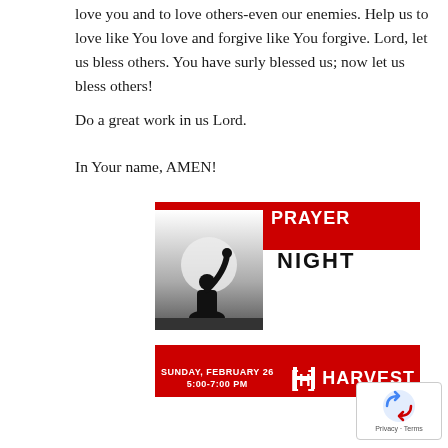love you and to love others-even our enemies. Help us to love like You love and forgive like You forgive. Lord, let us bless others. You have surly blessed us; now let us bless others!
Do a great work in us Lord.
In Your name, AMEN!
[Figure (infographic): Youth Prayer Night event flyer. Red banner at top reads YOUTH PRAYER NIGHT. Black and white photo of person raising hand in worship. Red bottom banner reads SUNDAY, FEBRUARY 26 / 5:00-7:00 PM with Harvest church logo.]